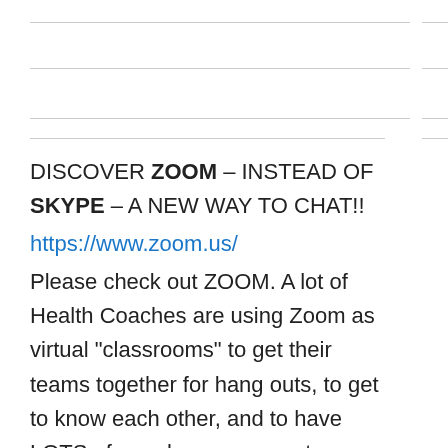DISCOVER ZOOM – INSTEAD OF SKYPE – A NEW WAY TO CHAT!!
https://www.zoom.us/
Please check out ZOOM. A lot of Health Coaches are using Zoom as virtual "classrooms" to get their teams together for hang outs, to get to know each other, and to have LOTS of people on screen at